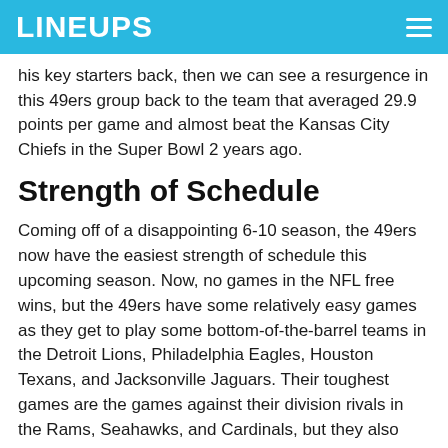LINEUPS
his key starters back, then we can see a resurgence in this 49ers group back to the team that averaged 29.9 points per game and almost beat the Kansas City Chiefs in the Super Bowl 2 years ago.
Strength of Schedule
Coming off of a disappointing 6-10 season, the 49ers now have the easiest strength of schedule this upcoming season. Now, no games in the NFL free wins, but the 49ers have some relatively easy games as they get to play some bottom-of-the-barrel teams in the Detroit Lions, Philadelphia Eagles, Houston Texans, and Jacksonville Jaguars. Their toughest games are the games against their division rivals in the Rams, Seahawks, and Cardinals, but they also have to face off against previous playoff teams in the Colts, Titans, Bears, and Packers. The 49ers should get off to a quick 2-0 start as their first two opponents are the Lions and Eagles. Then they go